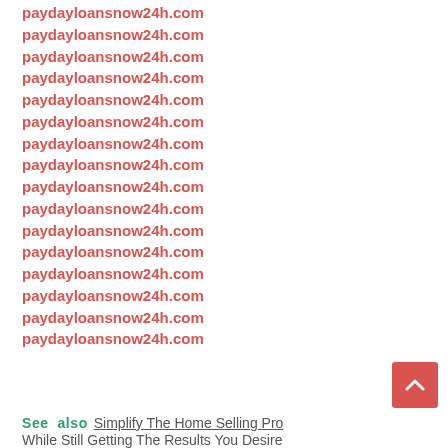paydayloansnow24h.com
paydayloansnow24h.com
paydayloansnow24h.com
paydayloansnow24h.com
paydayloansnow24h.com
paydayloansnow24h.com
paydayloansnow24h.com
paydayloansnow24h.com
paydayloansnow24h.com
paydayloansnow24h.com
paydayloansnow24h.com
paydayloansnow24h.com
paydayloansnow24h.com
paydayloansnow24h.com
paydayloansnow24h.com
paydayloansnow24h.com
See also  Simplify The Home Selling Pro… While Still Getting The Results You Desire